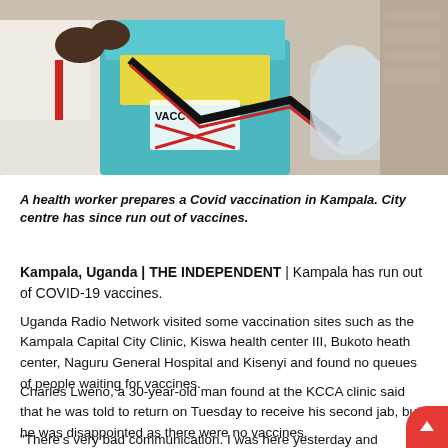[Figure (photo): A health worker in white coat prepares a Covid vaccination with a blue vaccine cooler box labeled VACC in Kampala, Uganda.]
A health worker prepares a Covid vaccination in Kampala. City centre has since run out of vaccines.
Kampala, Uganda | THE INDEPENDENT | Kampala has run out of COVID-19 vaccines.
Uganda Radio Network visited some vaccination sites such as the Kampala Capital City Clinic, Kiswa health center III, Bukoto heath center, Naguru General Hospital and Kisenyi and found no queues of people waiting for vaccines.
Charles Lweno, a 30-year-old man found at the KCCA clinic said that he was told to return on Tuesday to receive his second jab, but he was disappointed as there were no vaccines.
“There’s very bad communication. I was here yesterday and we were told to come back today. We came back and the nurses just looked…